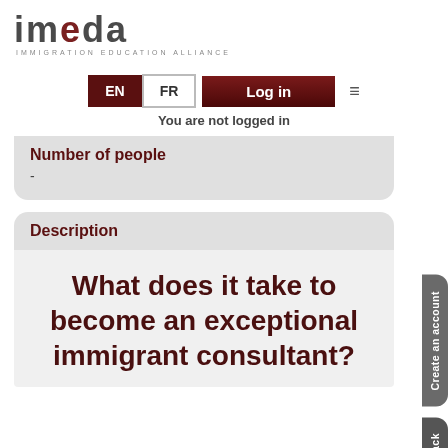[Figure (logo): IMEDA - Immigration Education Alliance logo with stylized text]
EN | FR | Log in | You are not logged in
Number of people
-
Description
What does it take to become an exceptional immigrant consultant?